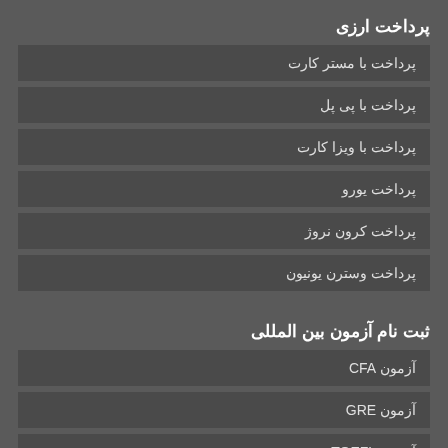پرداخت ارزی
پرداخت با مستر کارت
پرداخت با پی پل
پرداخت با ویزا کارت
پرداخت یورو
پرداخت کرون نروژ
پرداخت وسترن یونیون
ثبت نام آزمون بین المللی
آزمون CFA
آزمون GRE
آزمون TOEFL